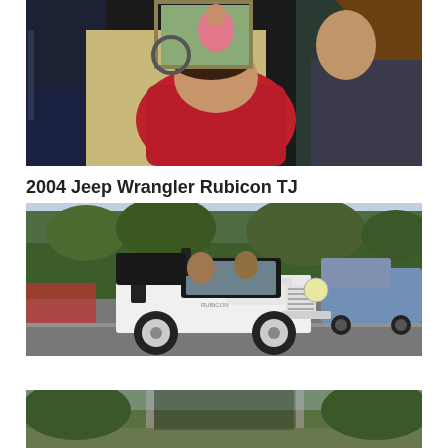[Figure (photo): Movie/TV scene shot from inside a car, showing a man in a red shirt leaning back, another person with long hair visible from behind, and a third person visible through the car window in the background.]
2004 Jeep Wrangler Rubicon TJ
[Figure (photo): A white 2004 Jeep Wrangler Rubicon TJ driving on a road with trees in the background, with other vehicles visible, appears to be a movie or TV scene.]
[Figure (photo): Partial view of another scene, cropped at the bottom of the page, showing an outdoor setting with green trees.]